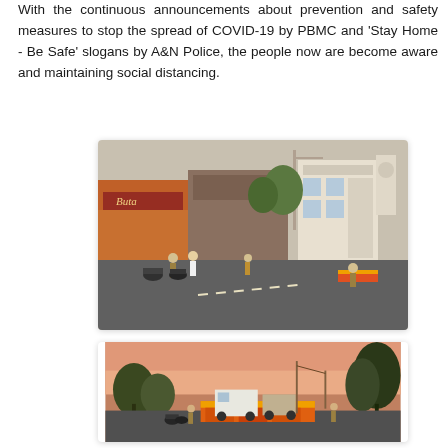With the continuous announcements about prevention and safety measures to stop the spread of COVID-19 by PBMC and 'Stay Home - Be Safe' slogans by A&N Police, the people now are become aware and maintaining social distancing.
[Figure (photo): Street scene showing police officers enforcing COVID-19 lockdown at a commercial area intersection with shops, motorcycles, and barricades visible]
[Figure (photo): Evening/dusk street scene showing vehicles and people at a checkpoint with orange barricades, trees visible on right side against pink sky]